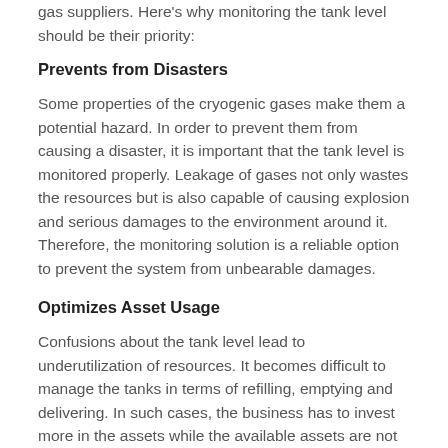gas suppliers. Here's why monitoring the tank level should be their priority:
Prevents from Disasters
Some properties of the cryogenic gases make them a potential hazard. In order to prevent them from causing a disaster, it is important that the tank level is monitored properly. Leakage of gases not only wastes the resources but is also capable of causing explosion and serious damages to the environment around it. Therefore, the monitoring solution is a reliable option to prevent the system from unbearable damages.
Optimizes Asset Usage
Confusions about the tank level lead to underutilization of resources. It becomes difficult to manage the tanks in terms of refilling, emptying and delivering. In such cases, the business has to invest more in the assets while the available assets are not being utilized up to their